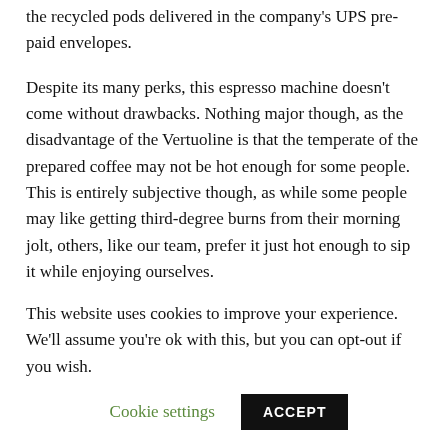the recycled pods delivered in the company's UPS pre-paid envelopes.
Despite its many perks, this espresso machine doesn't come without drawbacks. Nothing major though, as the disadvantage of the Vertuoline is that the temperate of the prepared coffee may not be hot enough for some people. This is entirely subjective though, as while some people may like getting third-degree burns from their morning jolt, others, like our team, prefer it just hot enough to sip it while enjoying ourselves.
To put it simply, this machine is for those who love
This website uses cookies to improve your experience. We'll assume you're ok with this, but you can opt-out if you wish.
Cookie settings
ACCEPT